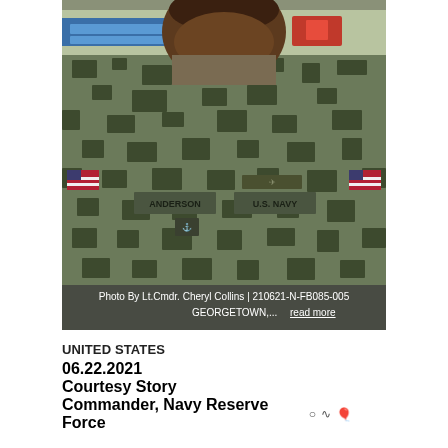[Figure (photo): Photo of a U.S. Navy servicemember in digital camouflage uniform with name tape 'ANDERSON' and 'U.S. NAVY' patches, smiling at camera. Photo caption: 'Photo By Lt.Cmdr. Cheryl Collins | 210621-N-FB085-005 GEORGETOWN,... read more']
Photo By Lt.Cmdr. Cheryl Collins | 210621-N-FB085-005
GEORGETOWN,... read more
UNITED STATES
06.22.2021
Courtesy Story
Commander, Navy Reserve Force